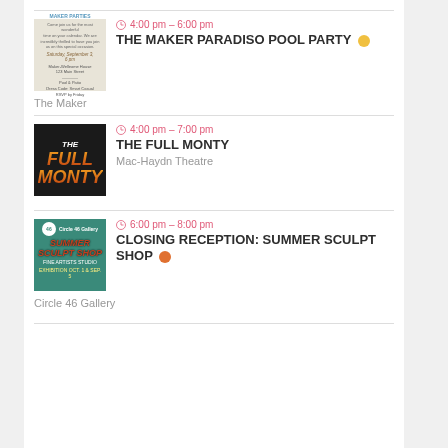[Figure (other): Event thumbnail for The Maker Paradiso Pool Party - invitation-style image on beige background]
4:00 pm - 6:00 pm
THE MAKER PARADISO POOL PARTY
The Maker
[Figure (other): Event thumbnail for The Full Monty - dark background with stylized orange/red text]
4:00 pm - 7:00 pm
THE FULL MONTY
Mac-Haydn Theatre
[Figure (other): Event thumbnail for Closing Reception: Summer Sculpt Shop - teal background with Circle 46 Gallery branding]
6:00 pm - 8:00 pm
CLOSING RECEPTION: SUMMER SCULPT SHOP
Circle 46 Gallery